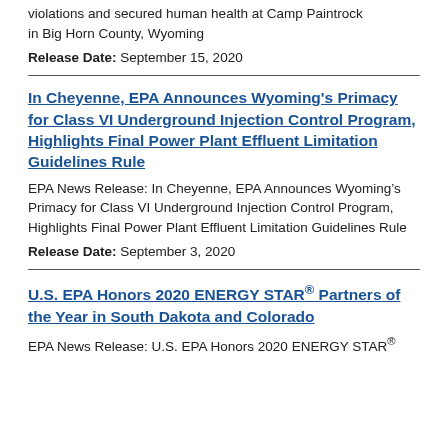violations and secured human health at Camp Paintrock in Big Horn County, Wyoming
Release Date: September 15, 2020
In Cheyenne, EPA Announces Wyoming's Primacy for Class VI Underground Injection Control Program, Highlights Final Power Plant Effluent Limitation Guidelines Rule
EPA News Release: In Cheyenne, EPA Announces Wyoming's Primacy for Class VI Underground Injection Control Program, Highlights Final Power Plant Effluent Limitation Guidelines Rule
Release Date: September 3, 2020
U.S. EPA Honors 2020 ENERGY STAR® Partners of the Year in South Dakota and Colorado
EPA News Release: U.S. EPA Honors 2020 ENERGY STAR®